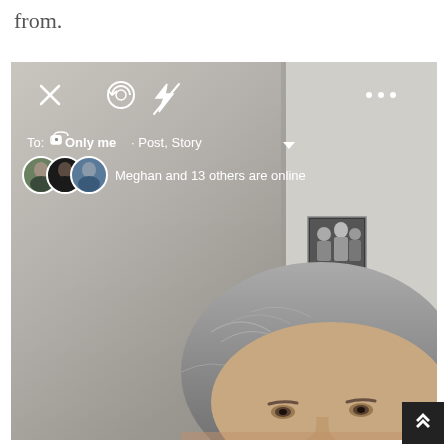from.
[Figure (screenshot): Facebook camera/story interface showing selfie mode with a man's face (gray-haired) at bottom. UI shows: X close icon, camera flip icon, flash-off icon, three-dot menu. 'To: 🔒 Only me · Post, Story ▾' selector. Three avatar circles and text 'Meghan and 13 others are online'. Background room with a framed photo on wall.]